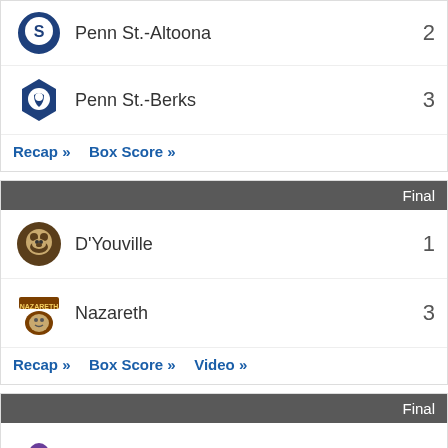| Team | Score |
| --- | --- |
| Penn St.-Altoona | 2 |
| Penn St.-Berks | 3 |
Recap » Box Score »
Final
| Team | Score |
| --- | --- |
| D'Youville | 1 |
| Nazareth | 3 |
Recap » Box Score » Video »
Final
| Team | Score |
| --- | --- |
| Bluffton | 1 |
| Pitt.-Bradford | 3 |
Ginny Hunt Kilt Classic
Recap » Recap » Box Score » Photos »